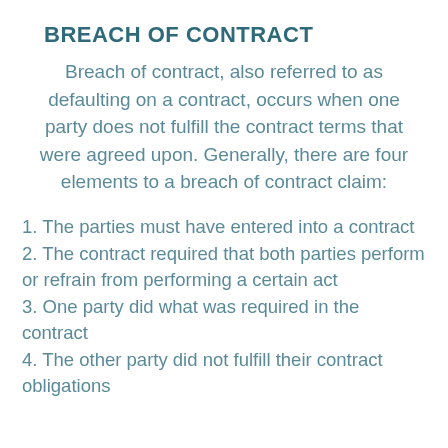BREACH OF CONTRACT
Breach of contract, also referred to as defaulting on a contract, occurs when one party does not fulfill the contract terms that were agreed upon. Generally, there are four elements to a breach of contract claim:
1. The parties must have entered into a contract
2. The contract required that both parties perform or refrain from performing a certain act
3. One party did what was required in the contract
4. The other party did not fulfill their contract obligations